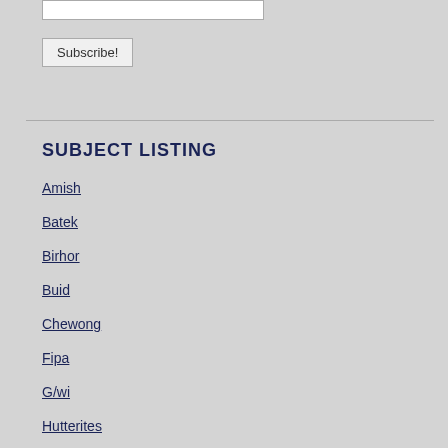[Figure (other): White input text box for subscription form]
Subscribe!
SUBJECT LISTING
Amish
Batek
Birhor
Buid
Chewong
Fipa
G/wi
Hutterites